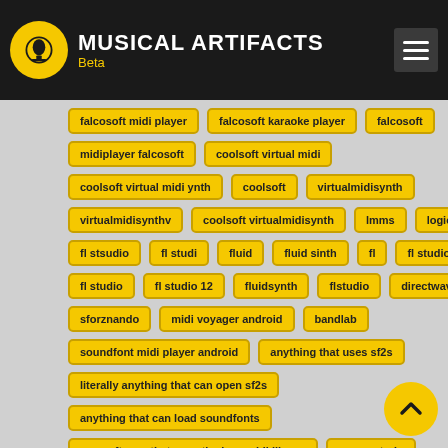MUSICAL ARTIFACTS Beta
falcosoft midi player
falcosoft karaoke player
falcosoft
midiplayer falcosoft
coolsoft virtual midi
coolsoft virtual midi ynth
coolsoft
virtualmidisynth
virtualmidisynthv
coolsoft virtualmidisynth
lmms
logic pro
fl stsudio
fl studi
fluid
fluid sinth
fl
fl studio 20
fl studio
fl studio 12
fluidsynth
flstudio
directwave
sforznando
midi voyager android
bandlab
soundfont midi player android
anything that uses sf2s
literally anything that can open sf2s
anything that can load soundfonts
any software that uses the bassmidi library
awave studo
awave studio 10.1
awave studio
awave studio 10.5
awave
fantasia
7z
sf2
sound blaster
bassmidivst
winamp
bismark
bassmidi vst
piconica
soundfont
timidity